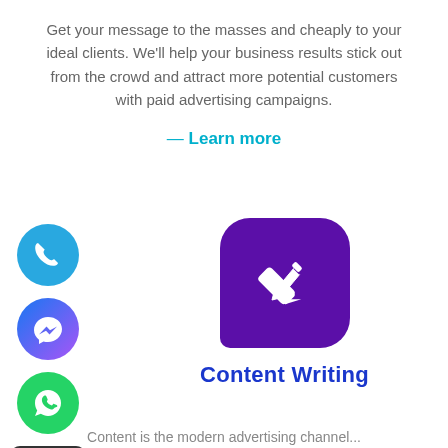Get your message to the masses and cheaply to your ideal clients. We'll help your business results stick out from the crowd and attract more potential customers with paid advertising campaigns.
— Learn more
[Figure (illustration): Four social media / contact icons stacked vertically on the left: a blue phone icon, a Facebook Messenger icon, a WhatsApp icon, and a live chat bubble icon with CHAT label below.]
[Figure (illustration): Purple rounded-square icon with a white pencil/edit icon inside.]
Content Writing
Content is the modern advertising channel...